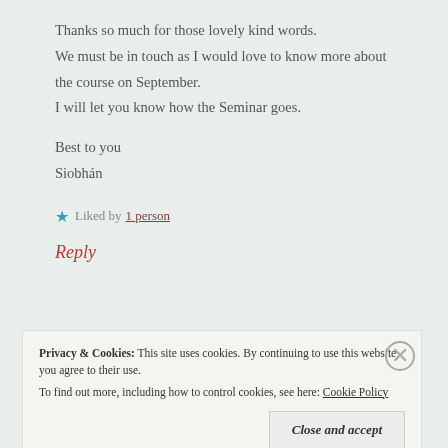Thanks so much for those lovely kind words.
We must be in touch as I would love to know more about the course on September.
I will let you know how the Seminar goes.
Best to you
Siobhán
★ Liked by 1 person
Reply
Privacy & Cookies: This site uses cookies. By continuing to use this website, you agree to their use. To find out more, including how to control cookies, see here: Cookie Policy
Close and accept